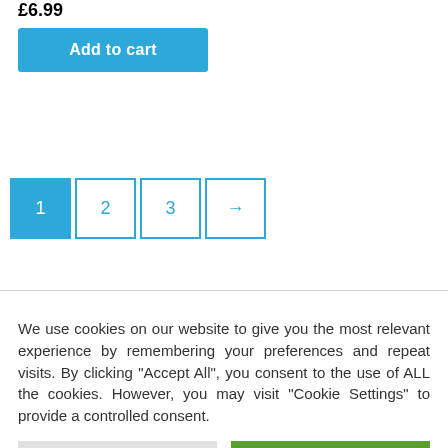£6.99
Add to cart
1  2  3  →
We use cookies on our website to give you the most relevant experience by remembering your preferences and repeat visits. By clicking "Accept All", you consent to the use of ALL the cookies. However, you may visit "Cookie Settings" to provide a controlled consent.
Cookie Settings
Accept All